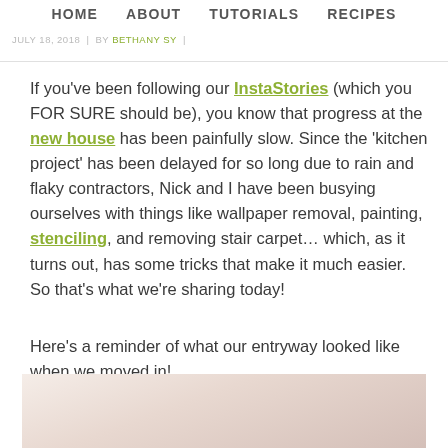HOME | ABOUT | TUTORIALS | RECIPES | JULY 18, 2018 | BY BETHANY SY
If you've been following our InstaStories (which you FOR SURE should be), you know that progress at the new house has been painfully slow. Since the 'kitchen project' has been delayed for so long due to rain and flaky contractors, Nick and I have been busying ourselves with things like wallpaper removal, painting, stenciling, and removing stair carpet… which, as it turns out, has some tricks that make it much easier. So that's what we're sharing today!
Here's a reminder of what our entryway looked like when we moved in!
[Figure (photo): Partial photo of entryway, cut off at bottom of page]